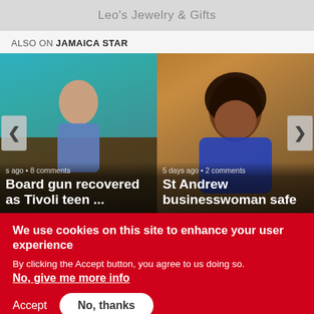[Figure (screenshot): Ad banner showing Leo's Jewelry & Gifts]
ALSO ON JAMAICA STAR
[Figure (screenshot): Two news article cards side by side. Left card: photo of a teen, text 's ago • 8 comments', headline 'Board gun recovered as Tivoli teen ...'. Right card: photo of a businesswoman smiling, text '5 days ago • 2 comments', headline 'St Andrew businesswoman safe'. Navigation arrows on left and right.]
We use cookies on this site to enhance your user experience
By clicking the Accept button, you agree to us doing so.
No, give me more info
Accept
No, thanks